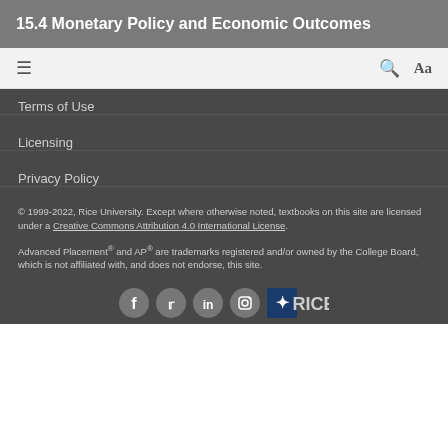15.4 Monetary Policy and Economic Outcomes
≡   🔍  Aa
Terms of Use
Licensing
Privacy Policy
© 1999-2022, Rice University. Except where otherwise noted, textbooks on this site are licensed under a Creative Commons Attribution 4.0 International License.
Advanced Placement® and AP® are trademarks registered and/or owned by the College Board, which is not affiliated with, and does not endorse, this site.
[Figure (logo): Social media icons (Facebook, Twitter, LinkedIn, Instagram) and Rice University logo]